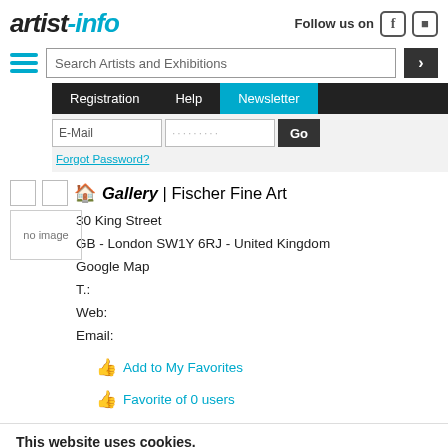artist-info
Follow us on
Search Artists and Exhibitions
Registration  Help  Newsletter
E-Mail  ·········  Go
Forgot Password?
Gallery | Fischer Fine Art
30 King Street
GB - London SW1Y 6RJ - United Kingdom
Google Map
T.:
Web:
Email:
Add to My Favorites
Favorite of 0 users
This website uses cookies.
We use cookies to improve your user experience, to personalize content and ads, to provide social media features and to analyze our traffic. We also